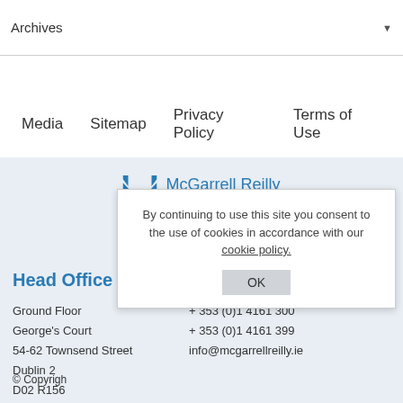Archives ▼
Media  Sitemap  Privacy Policy  Terms of Use
[Figure (logo): McGarrell Reilly Group logo with blue M icon]
Head Office
Ground Floor
George's Court
54-62 Townsend Street
Dublin 2
D02 R156
+ 353 (0)1 4161 300
+ 353 (0)1 4161 399
info@mcgarrellreilly.ie
© Copyright
By continuing to use this site you consent to the use of cookies in accordance with our cookie policy.
OK